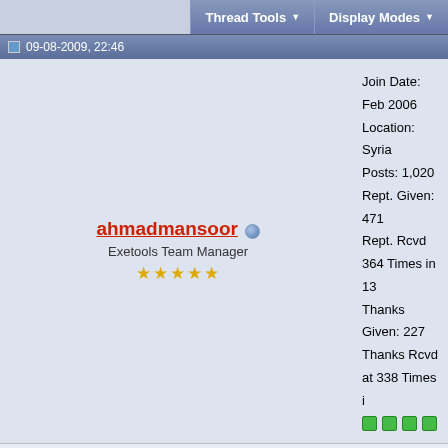Thread Tools | Display Modes
09-08-2009, 22:46
ahmadmansoor
Exetools Team Manager
Join Date: Feb 2006
Location: Syria
Posts: 1,020
Rept. Given: 471
Rept. Rcvd 364 Times in 13
Thanks Given: 227
Thanks Rcvd at 338 Times i
larp64pro.com /Lena151 eXeTools
From the best - Lena151 -
IARP64Tech is active in x64 compression and protection software emphasizing on 64 bit software protection. This includes 64 bit executable compression, 64 bit dll compression, 64 bit executable protection and protection. Our products are freeware except for the professional version. The innovative IARP64 technology has resulted in the free 64 bit software compressor and the professional 64 bit software protector.
IARP64Free is a freeware compressor developed as a pure 64 bit compressor (packer). This 64 bit software compressor has no anti-cracking defenses.
IARP64Pro is the strongest 64 bit software protection. This x64 windows program protection software is ideally suited for software developers and companies who wish to secure their applications against cracking and reversing techniques or against any other frauduleus intentions.